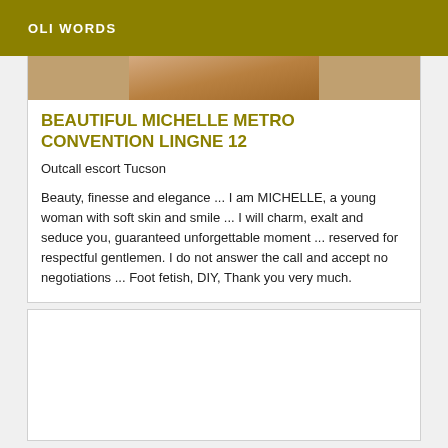OLI WORDS
[Figure (photo): Partial photo strip showing a person, cropped at top of card]
BEAUTIFUL MICHELLE METRO CONVENTION LINGNE 12
Outcall escort Tucson
Beauty, finesse and elegance ... I am MICHELLE, a young woman with soft skin and smile ... I will charm, exalt and seduce you, guaranteed unforgettable moment ... reserved for respectful gentlemen. I do not answer the call and accept no negotiations ... Foot fetish, DIY, Thank you very much.
[Figure (other): Empty white card area at bottom of page]